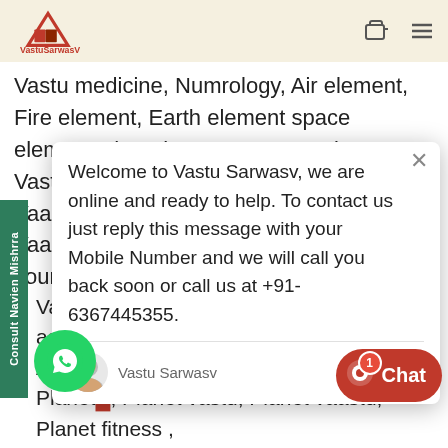VastuSarwasV
Vastu medicine, Numrology, Air element, Fire element, Earth element space element what element, Vastu project, Vastu projects, Vaastu, Vaastu for jaipur, Vaastu in jaipur, Vaastu in rajasthan , Vaastu courses, Vaastu courses, Vastu consultation, Vastu consultancy, Vastu, Vastu only, for p, Vaastu
Welcome to Vastu Sarwasv, we are online and ready to help. To contact us just reply this message with your Mobile Number and we will call you back soon or call us at +91-6367445355.
Vastu Sarwasv    just now
Vastu for street vendor, Vastu for astrologer , ology vastu, Astrologer vastu, Astrology, tronomy, Planet, Planets , Planet, Planet vastu, Planet vaastu, Planet fitness ,